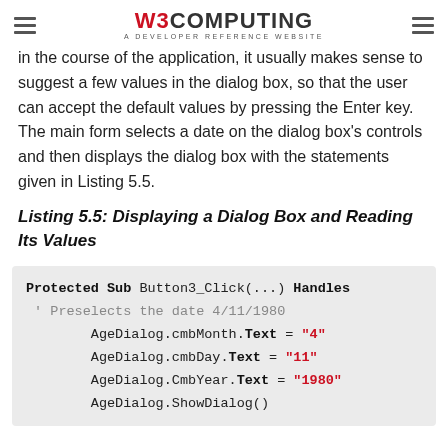W3COMPUTING — A DEVELOPER REFERENCE WEBSITE
in the course of the application, it usually makes sense to suggest a few values in the dialog box, so that the user can accept the default values by pressing the Enter key. The main form selects a date on the dialog box's controls and then displays the dialog box with the statements given in Listing 5.5.
Listing 5.5: Displaying a Dialog Box and Reading Its Values
[Figure (screenshot): Code listing showing Protected Sub Button3_Click(...) Handles with preselect date 4/11/1980, setting AgeDialog.cmbMonth.Text = "4", AgeDialog.cmbDay.Text = "11", AgeDialog.CmbYear.Text = "1980", AgeDialog.ShowDialog()]